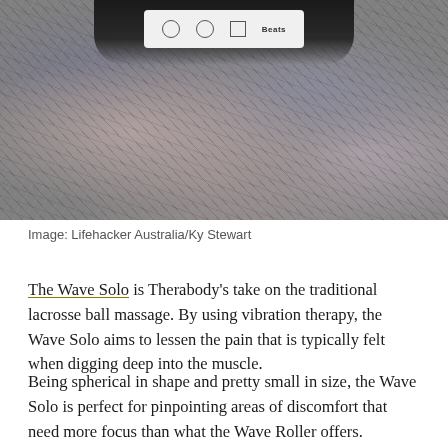[Figure (photo): Photo of a Therabody Wave Solo device on a granite/stone surface, with a product label visible at the top showing Beats branding icons]
Image: Lifehacker Australia/Ky Stewart
The Wave Solo is Therabody's take on the traditional lacrosse ball massage. By using vibration therapy, the Wave Solo aims to lessen the pain that is typically felt when digging deep into the muscle.
Being spherical in shape and pretty small in size, the Wave Solo is perfect for pinpointing areas of discomfort that need more focus than what the Wave Roller offers.